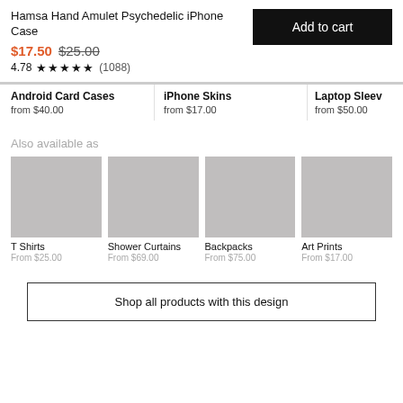Hamsa Hand Amulet Psychedelic iPhone Case
$17.50  $25.00
4.78 ★★★★★ (1088)
Add to cart
Android Card Cases — from $40.00
iPhone Skins — from $17.00
Laptop Sleev… — from $50.00
Also available as
T Shirts — From $25.00
Shower Curtains — From $69.00
Backpacks — From $75.00
Art Prints — From $17.00
Shop all products with this design